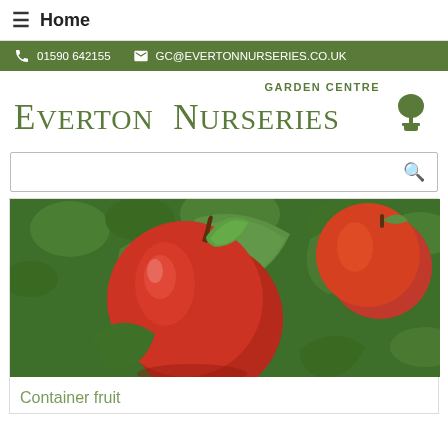≡ Home
📞 01590 642155  ✉ GC@EVERTONNURSERIES.CO.UK
GARDEN CENTRE Everton Nurseries
[Figure (photo): Red apples on a tree branch with green leaves]
Container fruit